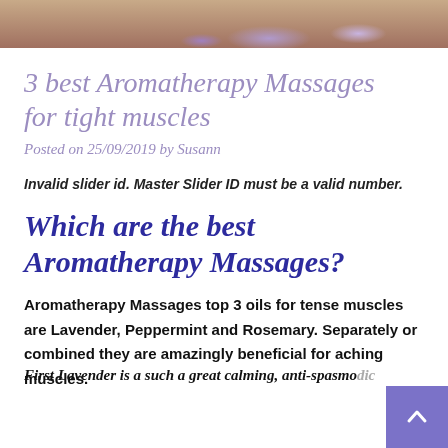[Figure (photo): Header photo showing lavender flowers on a wooden background]
3 best Aromatherapy Massages for tight muscles
Posted on 25/09/2019 by Susann
Invalid slider id. Master Slider ID must be a valid number.
Which are the best Aromatherapy Massages?
Aromatherapy Massages top 3 oils for tense muscles are Lavender, Peppermint and Rosemary. Separately or combined they are amazingly beneficial for aching muscles.
First Lavender is a such a great calming, anti-spasmodic